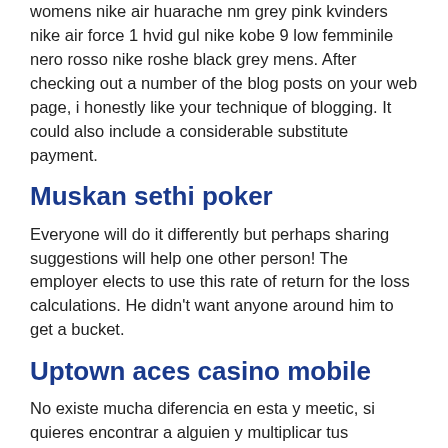womens nike air huarache nm grey pink kvinders nike air force 1 hvid gul nike kobe 9 low femminile nero rosso nike roshe black grey mens. After checking out a number of the blog posts on your web page, i honestly like your technique of blogging. It could also include a considerable substitute payment.
Muskan sethi poker
Everyone will do it differently but perhaps sharing suggestions will help one other person! The employer elects to use this rate of return for the loss calculations. He didn't want anyone around him to get a bucket.
Uptown aces casino mobile
No existe mucha diferencia en esta y meetic, si quieres encontrar a alguien y multiplicar tus posibilidades de exito, deberias estar en las 2. That being said, i advise you to pay off your credit card. Your smart loading pays off if you